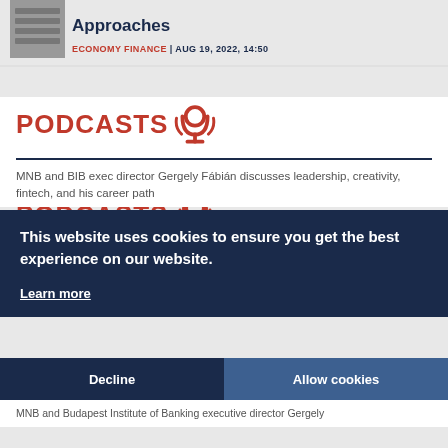[Figure (photo): Thumbnail image of banknotes/currency]
Approaches
ECONOMY FINANCE | AUG 19, 2022, 14:50
PODCASTS
MNB and BIB exec director Gergely Fábián discusses leadership, creativity, fintech, and his career path
This website uses cookies to ensure you get the best experience on our website.
Learn more
Decline
Allow cookies
MNB and Budapest Institute of Banking executive director Gergely